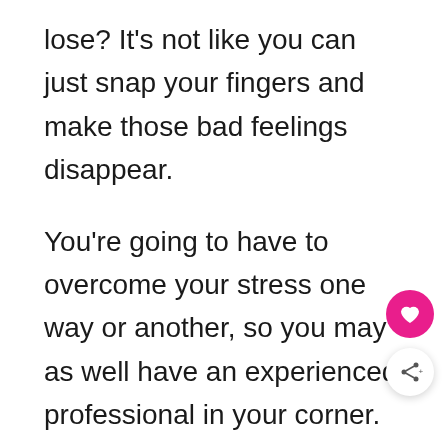lose? It's not like you can just snap your fingers and make those bad feelings disappear.
You're going to have to overcome your stress one way or another, so you may as well have an experienced professional in your corner.
According to an article by the National Institute of Mental Health at nimh.nih.gov, nearly 47 million adults in the United States suffer from a mental illness. A medical